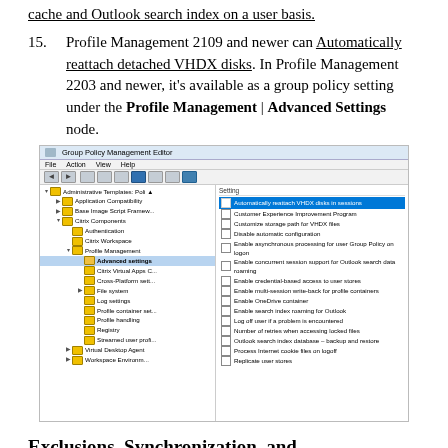cache and Outlook search index on a user basis.
15. Profile Management 2109 and newer can Automatically reattach detached VHDX disks. In Profile Management 2203 and newer, it's available as a group policy setting under the Profile Management | Advanced Settings node.
[Figure (screenshot): Group Policy Management Editor screenshot showing the Administrative Templates Policy tree expanded to Profile Management > Advanced Settings, with the right pane listing settings including the highlighted 'Automatically reattach VHDX disks in sessions'.]
Exclusions, Synchronization, and